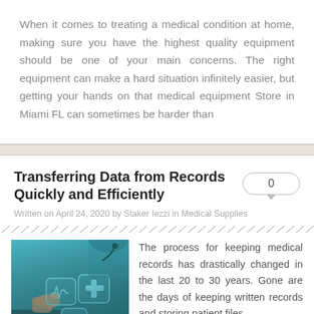When it comes to treating a medical condition at home, making sure you have the highest quality equipment should be one of your main concerns. The right equipment can make a hard situation infinitely easier, but getting your hands on that medical equipment Store in Miami FL can sometimes be harder than
Transferring Data from Records Quickly and Efficiently
Written on April 24, 2020 by Staker Iezzi in Medical Supplies
[Figure (photo): A healthcare professional in teal scrubs touching a digital interface with glowing medical icons including a heartbeat monitor, cross/plus symbol, and health icons on a teal background]
The process for keeping medical records has drastically changed in the last 20 to 30 years. Gone are the days of keeping written records and storing patient files